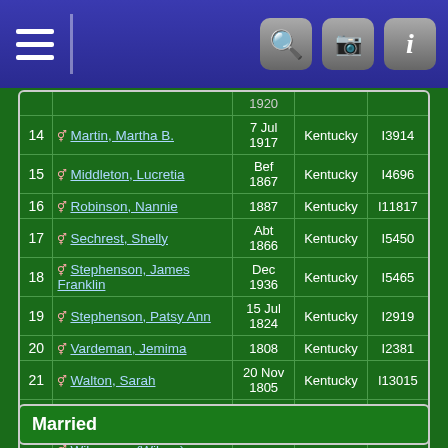| # | Name | Date | Place | ID |
| --- | --- | --- | --- | --- |
|  |  | 1920 |  |  |
| 14 | Martin, Martha B. | 7 Jul 1917 | Kentucky | I3914 |
| 15 | Middleton, Lucretia | Bef 1867 | Kentucky | I4696 |
| 16 | Robinson, Nannie | 1887 | Kentucky | I11817 |
| 17 | Sechrest, Shelly | Abt 1866 | Kentucky | I5450 |
| 18 | Stephenson, James Franklin | Dec 1936 | Kentucky | I5465 |
| 19 | Stephenson, Patsy Ann | 15 Jul 1824 | Kentucky | I2919 |
| 20 | Vardeman, Jemima | 1808 | Kentucky | I2381 |
| 21 | Walton, Sarah | 20 Nov 1805 | Kentucky | I13015 |
| 22 | Wilcoxson (Wilcox), Samuel | Oct 1825 | Kentucky | I9914 |
| 23 | Wilcoxson (Wilcox), William "Red" | Bef Oct 1828 | Kentucky | I9915 |
Married